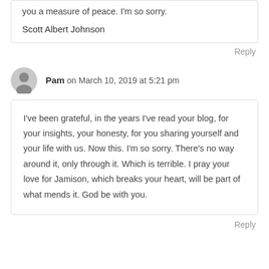you a measure of peace. I'm so sorry.
Scott Albert Johnson
Reply
Pam on March 10, 2019 at 5:21 pm
I've been grateful, in the years I've read your blog, for your insights, your honesty, for you sharing yourself and your life with us. Now this. I'm so sorry. There's no way around it, only through it. Which is terrible. I pray your love for Jamison, which breaks your heart, will be part of what mends it. God be with you.
Reply